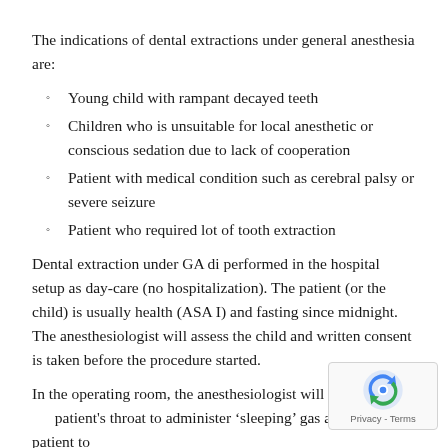The indications of dental extractions under general anesthesia are:
Young child with rampant decayed teeth
Children who is unsuitable for local anesthetic or conscious sedation due to lack of cooperation
Patient with medical condition such as cerebral palsy or severe seizure
Patient who required lot of tooth extraction
Dental extraction under GA di performed in the hospital setup as day-care (no hospitalization). The patient (or the child) is usually health (ASA I) and fasting since midnight. The anesthesiologist will assess the child and written consent is taken before the procedure started.
In the operating room, the anesthesiologist will put a tube in the patient's throat to administer ‘sleeping’ gas allowing patient to